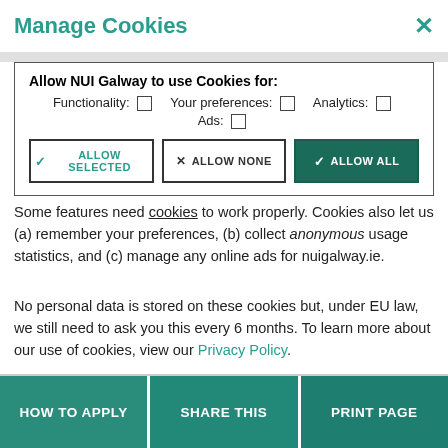Manage Cookies
Allow NUI Galway to use Cookies for:
Functionality: ☐  Your preferences: ☐  Analytics: ☐
Ads: ☐
[ALLOW SELECTED]  [ALLOW NONE]  [ALLOW ALL]
Some features need cookies to work properly. Cookies also let us (a) remember your preferences, (b) collect anonymous usage statistics, and (c) manage any online ads for nuigalway.ie.
No personal data is stored on these cookies but, under EU law, we still need to ask you this every 6 months. To learn more about our use of cookies, view our Privacy Policy.
HOW TO APPLY   SHARE THIS   PRINT PAGE